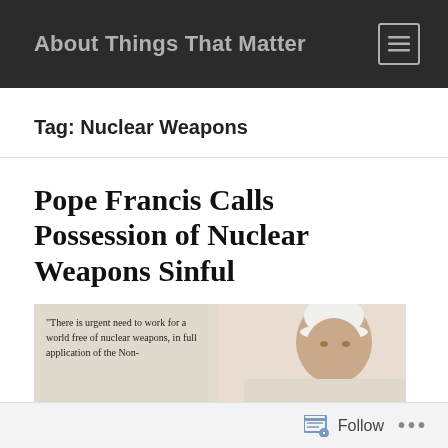About Things That Matter
Tag: Nuclear Weapons
Pope Francis Calls Possession of Nuclear Weapons Sinful
[Figure (photo): Photo of Pope Francis wearing white papal cap, with overlaid quote text: "There is urgent need to work for a world free of nuclear weapons, in full application of the Non-"]
Follow ...